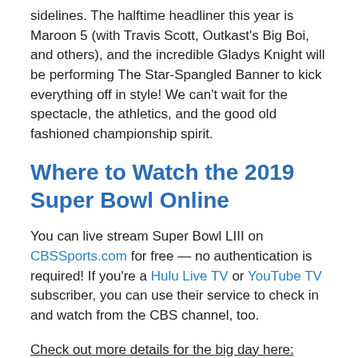sidelines. The halftime headliner this year is Maroon 5 (with Travis Scott, Outkast's Big Boi, and others), and the incredible Gladys Knight will be performing The Star-Spangled Banner to kick everything off in style! We can't wait for the spectacle, the athletics, and the good old fashioned championship spirit.
Where to Watch the 2019 Super Bowl Online
You can live stream Super Bowl LIII on CBSsports.com for free — no authentication is required! If you're a Hulu Live TV or YouTube TV subscriber, you can use their service to check in and watch from the CBS channel, too.
Check out more details for the big day here:
When: Sunday, Feb. 3 at 6:30 p.m. ET